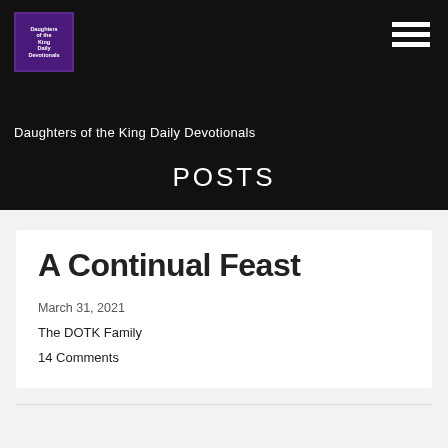[Figure (logo): Daughters of the King Daily Devotionals logo — purple square with white crown/text icon]
Daughters of the King Daily Devotionals
POSTS
A Continual Feast
March 31, 2021
The DOTK Family
14 Comments